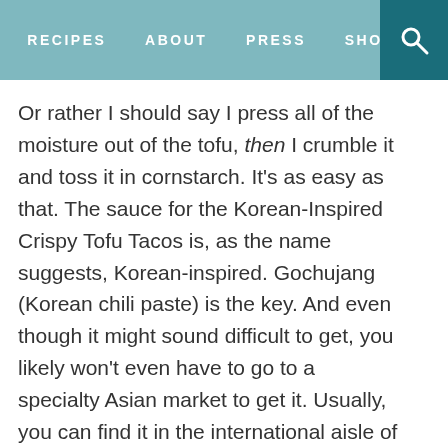RECIPES   ABOUT   PRESS   SHO[P]
Or rather I should say I press all of the moisture out of the tofu, then I crumble it and toss it in cornstarch. It’s as easy as that. The sauce for the Korean-Inspired Crispy Tofu Tacos is, as the name suggests, Korean-inspired. Gochujang (Korean chili paste) is the key. And even though it might sound difficult to get, you likely won’t even have to go to a specialty Asian market to get it. Usually, you can find it in the international aisle of your local grocery store. If not, they even sell it on Amazon. Oh, the convenience of living in modern times.
[Figure (photo): Top-down photo of lime slices and green cucumbers on a dark grey stone surface]
[Figure (photo): Close-up photo of lime slices on a light surface, partially visible]